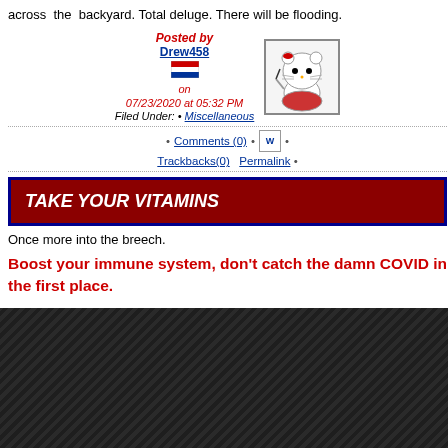across the backyard. Total deluge. There will be flooding.
Posted by Drew458 on 07/23/2020 at 05:32 PM Filed Under: • Miscellaneous
• Comments (0) • Trackbacks(0) Permalink •
TAKE YOUR VITAMINS
Once more into the breech.
Boost your immune system, don't catch the damn COVID in the first place.
Abortion - (17)
Adventure - (22)
Advertising - (0)
Advertising - (9)
Africa - (102)
Amazing Science and Discoveries - (121)
Animals - (249)
Cat Blogging - (14)
Archeology / Anthropology - (83)
Architecture - (41)
Art-Photography - (339)
Awards - (77)
Battling Brits - (23)
Big Brother - (53)
Big Business - (53)
BIRTHDAY - (7)
Blog Stuff - (270)
Border Security - (27)
Bowling Blogging - (187)
Bread - (19)
Bridges - (50)
Canada - (14)
Celebrities - (125)
CHESS - (67)
CHINA in the news - (45)
Climate-Weather - (442)
Colleges-Professors - (70)
Commies - (212)
Computers and Cyberspace - (80)
Crime - (1093)
CULTURE IN DECLINE - (416)
Daily Life - (730)
Democrats-Liberals-Moonbat Leftists - (1830)
Passing on, Death and Disaster - (18)
Disasters - (7)
Economics - (362)
DIVERSITY BS - (110)